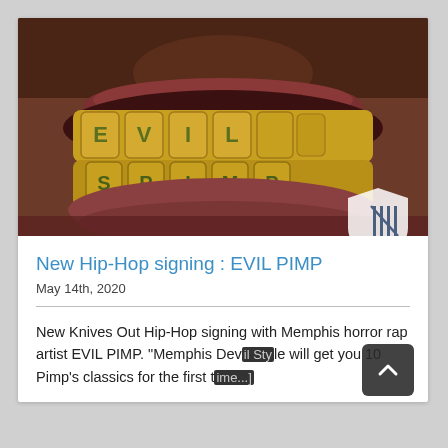[Figure (photo): Close-up photo of a person's mouth showing gold grillz with the letters E-V-I-L on the upper teeth and S-P-I-M-P on the lower teeth. A shield/logo watermark is visible in the lower right corner of the image.]
New Hip-Hop signing : EVIL PIMP
May 14th, 2020
New Knives Out Hip-Hop signing with Memphis horror rap artist EVIL PIMP. "Memphis Dev[il Style] will get you 10 Pimp's classics for the first t[ime...]